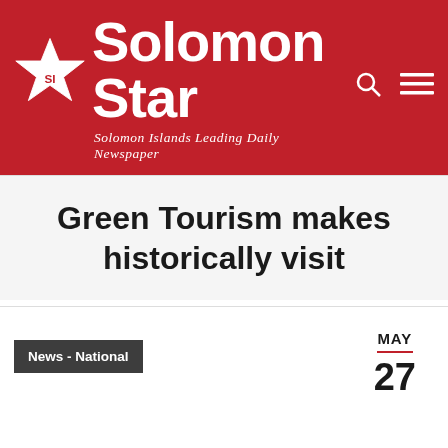Solomon Star — Solomon Islands Leading Daily Newspaper
Green Tourism makes historically visit
News - National
MAY 27